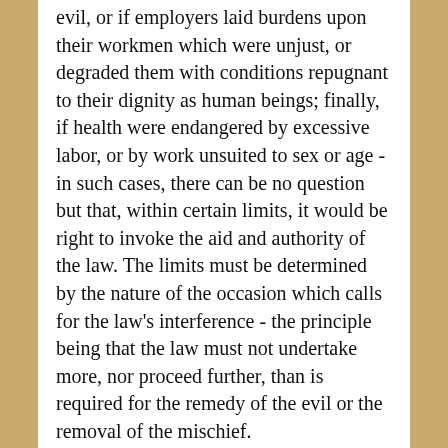evil, or if employers laid burdens upon their workmen which were unjust, or degraded them with conditions repugnant to their dignity as human beings; finally, if health were endangered by excessive labor, or by work unsuited to sex or age - in such cases, there can be no question but that, within certain limits, it would be right to invoke the aid and authority of the law. The limits must be determined by the nature of the occasion which calls for the law's interference - the principle being that the law must not undertake more, nor proceed further, than is required for the remedy of the evil or the removal of the mischief.
37. Rights must be religiously respected wherever they exist, and it is the duty of the public authority to prevent and to punish injury, and to protect every one in the possession of his own. Still, when there is question of defending the rights of individuals, the poor and badly off have a claim to